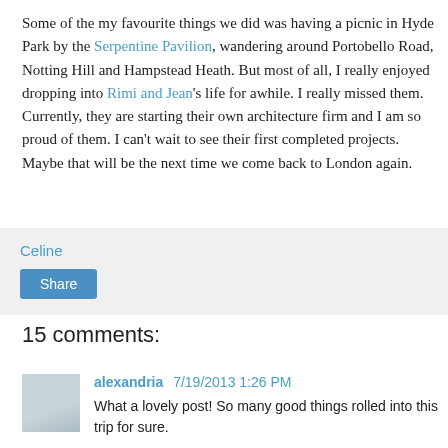Some of the my favourite things we did was having a picnic in Hyde Park by the Serpentine Pavilion, wandering around Portobello Road, Notting Hill and Hampstead Heath. But most of all, I really enjoyed dropping into Rimi and Jean's life for awhile. I really missed them. Currently, they are starting their own architecture firm and I am so proud of them. I can't wait to see their first completed projects. Maybe that will be the next time we come back to London again.
Celine
Share
15 comments:
alexandria 7/19/2013 1:26 PM
What a lovely post! So many good things rolled into this trip for sure.